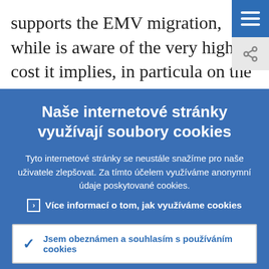supports the EMV migration, while is aware of the very high cost it implies, in particular on the acquirer side. We believe that fraud combat offers more than its immediate
Naše internetové stránky využívají soubory cookies
Tyto internetové stránky se neustále snažíme pro naše uživatele zlepšovat. Za tímto účelem využíváme anonymní údaje poskytované cookies.
▶ Více informací o tom, jak využíváme cookies
✓ Jsem obeznámen a souhlasím s používáním cookies
✗ Nesouhlasím s používáním cookies.